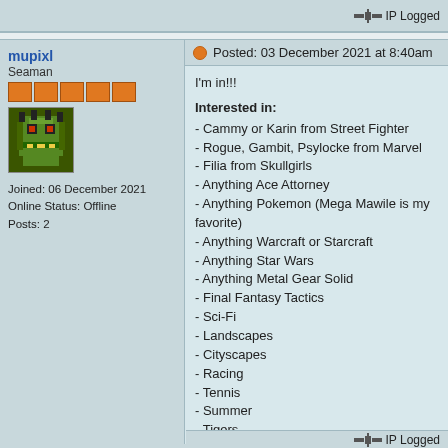IP Logged
mupixl
Seaman
Joined: 06 December 2021
Online Status: Offline
Posts: 2
Posted: 03 December 2021 at 8:40am
I'm in!!!
Interested in:
- Cammy or Karin from Street Fighter
- Rogue, Gambit, Psylocke from Marvel
- Filia from Skullgirls
- Anything Ace Attorney
- Anything Pokemon (Mega Mawile is my favorite)
- Anything Warcraft or Starcraft
- Anything Star Wars
- Anything Metal Gear Solid
- Final Fantasy Tactics
- Sci-Fi
- Landscapes
- Cityscapes
- Racing
- Tennis
- Summer
- Tigers
- Puns
- Mid to high saturation palettes
Not interested in:
- Gore
- Horror
- Furry
- Obscene or disgusting humor
IP Logged